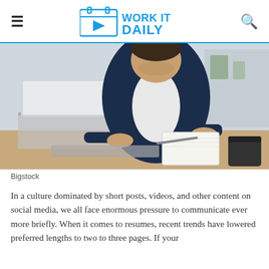WORK IT DAILY
[Figure (photo): Man in dark blue denim shirt typing on a laptop at a desk with an open notebook and coffee mug nearby, blurred office background]
Bigstock
In a culture dominated by short posts, videos, and other content on social media, we all face enormous pressure to communicate ever more briefly. When it comes to resumes, recent trends have lowered preferred lengths to two to three pages. If your